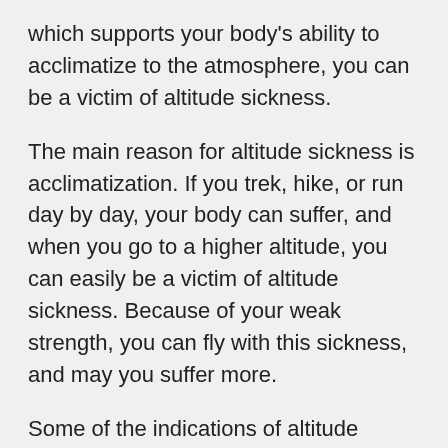which supports your body's ability to acclimatize to the atmosphere, you can be a victim of altitude sickness.
The main reason for altitude sickness is acclimatization. If you trek, hike, or run day by day, your body can suffer, and when you go to a higher altitude, you can easily be a victim of altitude sickness. Because of your weak strength, you can fly with this sickness, and may you suffer more.
Some of the indications of altitude sickness are vomiting, headache, nausea, and highheadedness. Additional symptoms include cough and gray, pale, or bluish skin tone. You